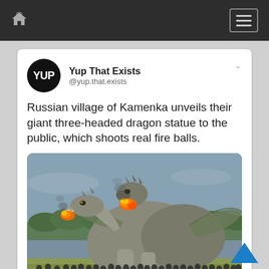Navigation bar with home icon and menu icon
Yup That Exists
@yup.that.exists
Russian village of Kamenka unveils their giant three-headed dragon statue to the public, which shoots real fire balls.
[Figure (photo): Large three-headed dragon statue outdoors, with fire/flames visible, surrounded by a crowd of spectators on a grassy field with trees in the background.]